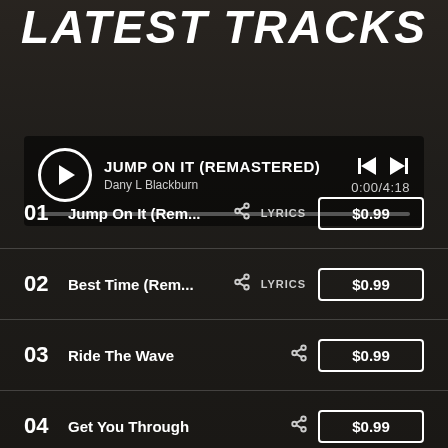LATEST TRACKS
[Figure (infographic): Music player UI showing currently playing track: JUMP ON IT (REMASTERED) by Dany L Blackburn, 0:00/4:18, with play button, skip controls, and progress bar]
01  Jump On It (Rem...  [share]  LYRICS  $0.99
02  Best Time (Rem...  [share]  LYRICS  $0.99
03  Ride The Wave  [share]  $0.99
04  Get You Through  [share]  $0.99